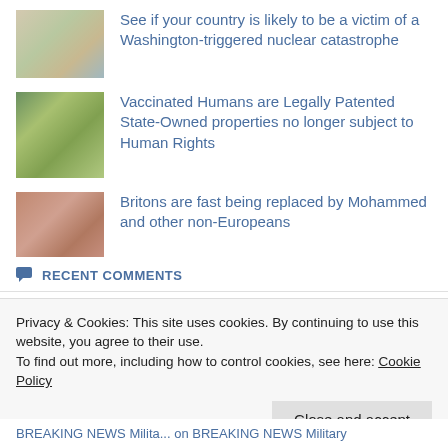See if your country is likely to be a victim of a Washington-triggered nuclear catastrophe
Vaccinated Humans are Legally Patented State-Owned properties no longer subject to Human Rights
Britons are fast being replaced by Mohammed and other non-Europeans
RECENT COMMENTS
sebastian1979sana on Mass anti-government protests...
Privacy & Cookies: This site uses cookies. By continuing to use this website, you agree to their use.
To find out more, including how to control cookies, see here: Cookie Policy
Close and accept
BREAKING NEWS Milita... on BREAKING NEWS Military